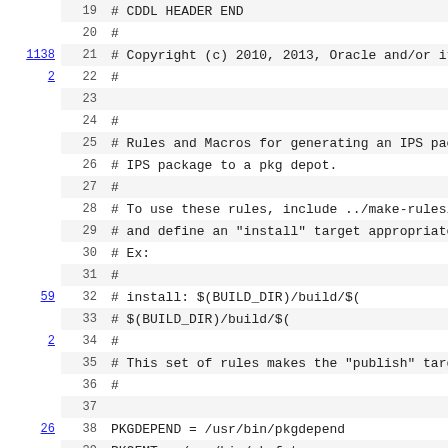Code viewer showing lines 19-41 of a Makefile with line references and code content
| ref | line | code |
| --- | --- | --- |
|  | 19 | # CDDL HEADER END |
|  | 20 | # |
| 1138 | 21 | # Copyright (c) 2010, 2013, Oracle and/or its |
| 2 | 22 | # |
|  | 23 |  |
|  | 24 | # |
|  | 25 | # Rules and Macros for generating an IPS pack |
|  | 26 | # IPS package to a pkg depot. |
|  | 27 | # |
|  | 28 | # To use these rules, include ../make-rules/i |
|  | 29 | # and define an "install" target appropriate |
|  | 30 | # Ex: |
|  | 31 | # |
| 59 | 32 | #        install:        $(BUILD_DIR)/build/$( |
|  | 33 | #                             $(BUILD_DIR)/build/$( |
| 2 | 34 | # |
|  | 35 | # This set of rules makes the "publish" targe |
|  | 36 | # |
|  | 37 |  |
| 26 | 38 | PKGDEPEND =     /usr/bin/pkgdepend |
|  | 39 | PKGFMT =        /usr/bin/pkgfmt |
| 2 | 40 | PKGMOGRIFY =    /usr/bin/pkgmogrify |
| 26 | 41 | PKGSEND =       /usr/bin/pkgsend |